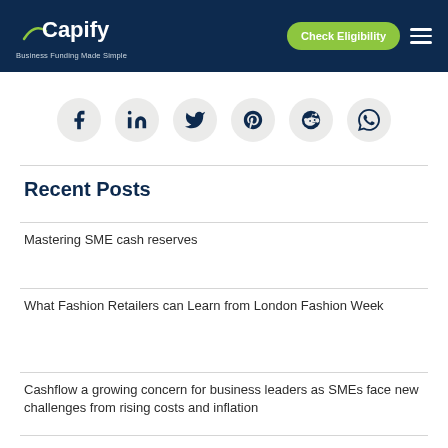Capify — Business Funding Made Simple | Check Eligibility
[Figure (infographic): Social media share icons in circular buttons: Facebook, LinkedIn, Twitter, Pinterest, Reddit, WhatsApp]
Recent Posts
Mastering SME cash reserves
What Fashion Retailers can Learn from London Fashion Week
Cashflow a growing concern for business leaders as SMEs face new challenges from rising costs and inflation